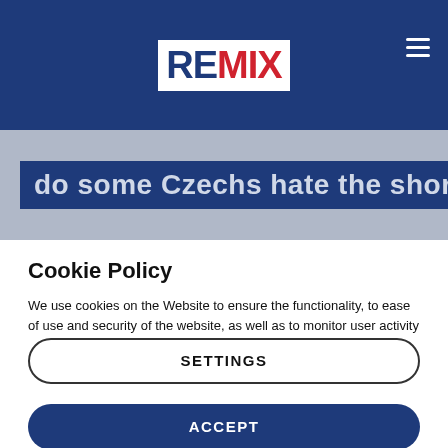[Figure (logo): REMIX logo: RE in dark blue box, MIX in red, on white background]
do some Czechs hate the short
Cookie Policy
We use cookies on the Website to ensure the functionality, to ease of use and security of the website, as well as to monitor user activity and to collect information about your browsing habits in order to make advertising relevant to you and your interests.
Clicking on "Accept" you can allow all cookies. If you would like to reject or customize, please click on "Settings".
Read more: Cookie Policy
SETTINGS
ACCEPT